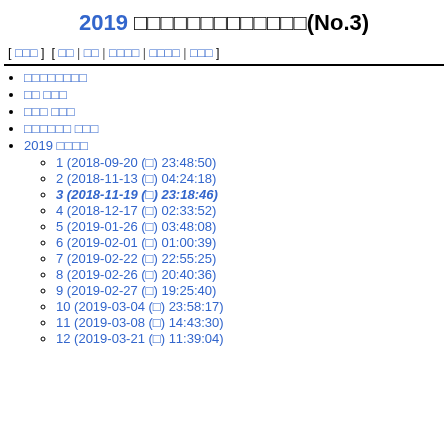2019 　　　　　　　(No.3)
[ 　　 ]　[ 　 | 　 | 　　　 | 　　　 | 　　 ]
2019
1 (2018-09-20 (　) 23:48:50)
2 (2018-11-13 (　) 04:24:18)
3 (2018-11-19 (　) 23:18:46)
4 (2018-12-17 (　) 02:33:52)
5 (2019-01-26 (　) 03:48:08)
6 (2019-02-01 (　) 01:00:39)
7 (2019-02-22 (　) 22:55:25)
8 (2019-02-26 (　) 20:40:36)
9 (2019-02-27 (　) 19:25:40)
10 (2019-03-04 (　) 23:58:17)
11 (2019-03-08 (　) 14:43:30)
12 (2019-03-21 (　) 11:39:04)